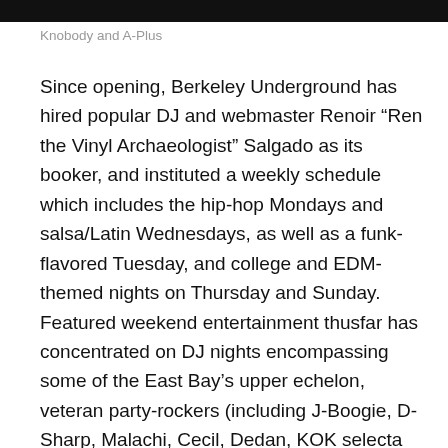[Figure (photo): Dark/black image bar at the top of the page, partial photo of Knobody and A-Plus]
Knobody and A-Plus
Since opening, Berkeley Underground has hired popular DJ and webmaster Renoir “Ren the Vinyl Archaeologist” Salgado as its booker, and instituted a weekly schedule which includes the hip-hop Mondays and salsa/Latin Wednesdays, as well as a funk-flavored Tuesday, and college and EDM-themed nights on Thursday and Sunday. Featured weekend entertainment thusfar has concentrated on DJ nights encompassing some of the East Bay’s upper echelon, veteran party-rockers (including J-Boogie, D-Sharp, Malachi, Cecil, Dedan, KOK selecta Smoky and Green B, encompassing a range from hip-hop to downtempo to deep house to reggae); the inaugural January calendar ends with the one-two punch of world beatniks Afrolicious Soundsystem  and Pinoy turntablist